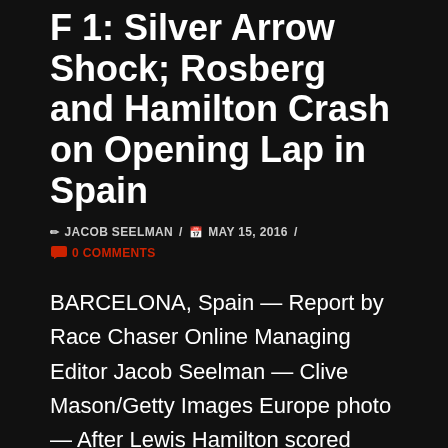F 1: Silver Arrow Shock; Rosberg and Hamilton Crash on Opening Lap in Spain
✏ JACOB SEELMAN / 📅 MAY 15, 2016 / 💬 0 COMMENTS
BARCELONA, Spain — Report by Race Chaser Online Managing Editor Jacob Seelman — Clive Mason/Getty Images Europe photo — After Lewis Hamilton scored pole position for the Pirelli Spanish Grand Prix and it seemed that Mercedes AMG Petronas would be well on their way to yet another dominating performance Sunday in Catalunya, the long-simmering rivalry between he and teammate Nico Rosberg ...